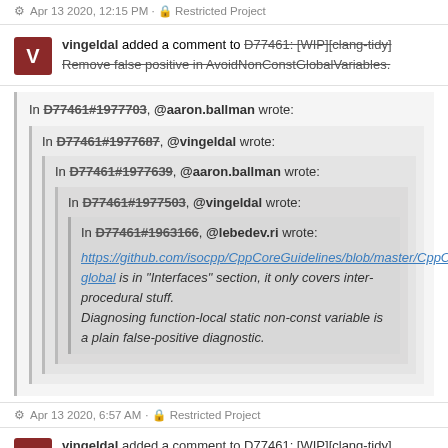Apr 13 2020, 12:15 PM · Restricted Project
vingeldal added a comment to D77461: [WIP][clang-tidy] Remove false positive in AvoidNonConstGlobalVariables.
In D77461#1977703, @aaron.ballman wrote:
In D77461#1977687, @vingeldal wrote:
In D77461#1977639, @aaron.ballman wrote:
In D77461#1977503, @vingeldal wrote:
In D77461#1963166, @lebedev.ri wrote:
https://github.com/isocpp/CppCoreGuidelines/blob/master/CppCoreGuidelines.md#Ri-global is in "Interfaces" section, it only covers inter-procedural stuff.
Diagnosing function-local static non-const variable is a plain false-positive diagnostic.
Apr 13 2020, 6:57 AM · Restricted Project
vingeldal added a comment to D77461: [WIP][clang-tidy]